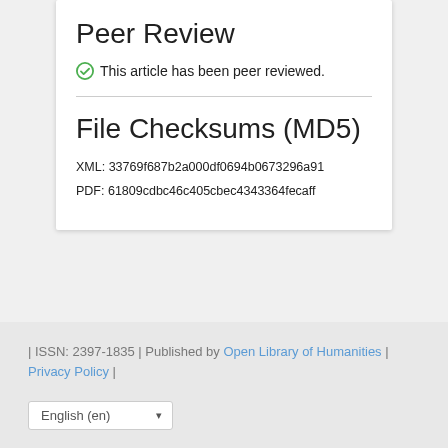Peer Review
✅ This article has been peer reviewed.
File Checksums (MD5)
XML: 33769f687b2a000df0694b0673296a91
PDF: 61809cdbc46c405cbec4343364fecaff
| ISSN: 2397-1835 | Published by Open Library of Humanities | Privacy Policy |